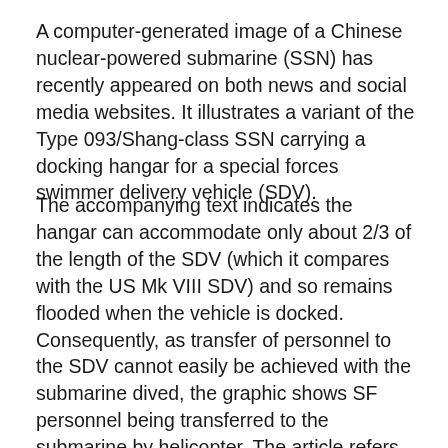A computer-generated image of a Chinese nuclear-powered submarine (SSN) has recently appeared on both news and social media websites. It illustrates a variant of the Type 093/Shang-class SSN carrying a docking hangar for a special forces swimmer delivery vehicle (SDV).
The accompanying text indicates the hangar can accommodate only about 2/3 of the length of the SDV (which it compares with the US Mk VIII SDV) and so remains flooded when the vehicle is docked. Consequently, as transfer of personnel to the SDV cannot easily be achieved with the submarine dived, the graphic shows SF personnel being transferred to the submarine by helicopter. The article refers to this as a wet-deck system and the SSN variant as a Type 093T.